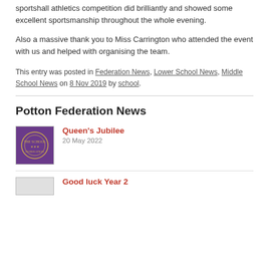sportshall athletics competition did brilliantly and showed some excellent sportsmanship throughout the whole evening.
Also a massive thank you to Miss Carrington who attended the event with us and helped with organising the team.
This entry was posted in Federation News, Lower School News, Middle School News on 8 Nov 2019 by school.
Potton Federation News
[Figure (logo): Purple circular school crest/logo on purple background]
Queen's Jubilee
20 May 2022
Good luck Year 2